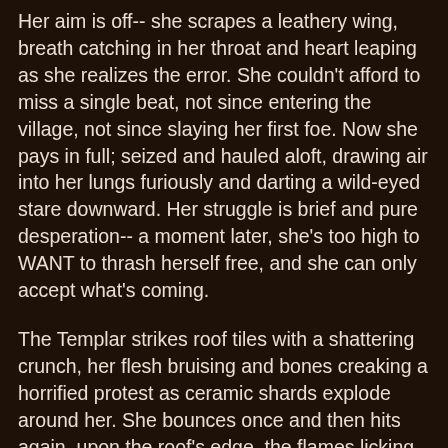Her aim is off-- she scrapes a leathery wing, breath catching in her throat and heart leaping as she realizes the error. She couldn't afford to miss a single beat, not since entering the village, not since slaying her first foe. Now she pays in full; seized and hauled aloft, drawing air into her lungs furiously and darting a wild-eyed stare downward. Her struggle is brief and pure desperation-- a moment later, she's too high to WANT to thrash herself free, and she can only accept what's coming.
The Templar strikes roof tiles with a shattering crunch, her flesh bruising and bones creaking a horrified protest as ceramic shards explode around her. She bounces once and then hits again, upon the roof's edge, the flames licking upward to reach her form on the final descent. She hits the ground burning, tears streaking from her eyes and a whimper escaping her throat - betraying the instinctive fear of an animal - as she takes a knee upon the dry grass. The Dragon's Breath is with her still, descending to extinguish the flame with sheer pressure, only smoke remaining through the gray